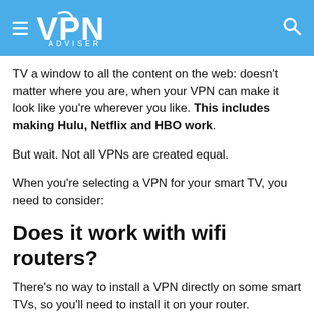VPN ADVISER
TV a window to all the content on the web: doesn't matter where you are, when your VPN can make it look like you're wherever you like. This includes making Hulu, Netflix and HBO work.
But wait. Not all VPNs are created equal.
When you're selecting a VPN for your smart TV, you need to consider:
Does it work with wifi routers?
There's no way to install a VPN directly on some smart TVs, so you'll need to install it on your router.
Not all VPNs can be installed on a router. Not all